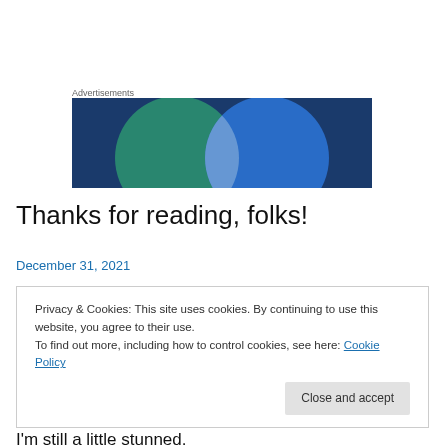[Figure (illustration): Advertisement banner with two overlapping circles on dark blue background: a teal/green circle on the left and a blue circle on the right, with a lighter intersection region in the center.]
Thanks for reading, folks!
December 31, 2021
Privacy & Cookies: This site uses cookies. By continuing to use this website, you agree to their use.
To find out more, including how to control cookies, see here: Cookie Policy
I'm still a little stunned.